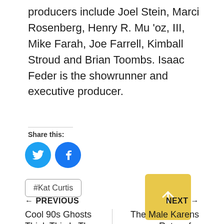producers include Joel Stein, Marci Rosenberg, Henry R. Mu 'oz, III, Mike Farah, Joe Farrell, Kimball Stroud and Brian Toombs. Isaac Feder is the showrunner and executive producer.
Share this:
[Figure (illustration): Twitter and Facebook social share icon buttons (blue circles with white bird and 'f' logos)]
#Kat Curtis
[Figure (illustration): Yellow square button with white upward arrow icon]
← PREVIOUS
NEXT →
Cool 90s Ghosts Think This Is The Ghost of
The Male Karens Return for Halloween